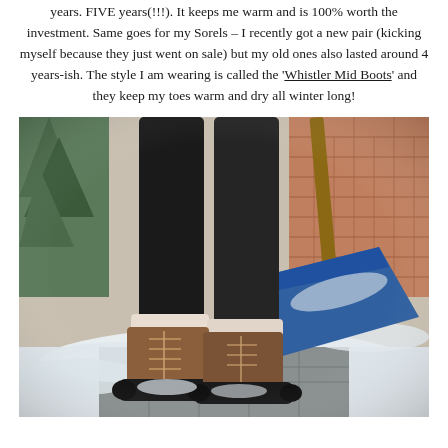years. FIVE years (!!!). It keeps me warm and is 100% worth the investment. Same goes for my Sorels – I recently got a new pair (kicking myself because they just went on sale) but my old ones also lasted around 4 years-ish. The style I am wearing is called the 'Whistler Mid Boots' and they keep my toes warm and dry all winter long!
[Figure (photo): Person's legs wearing black leggings and brown Sorel Whistler Mid Boots standing in snow next to a blue snow shovel, with brick wall and evergreen tree in background.]